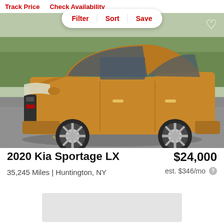Track Price   Check Availability
Filter   Sort   Save
[Figure (photo): 2020 Kia Sportage LX in metallic bronze/copper color, side profile view in a parking lot with trees in background]
2020 Kia Sportage LX
$24,000
35,245 Miles | Huntington, NY
est. $346/mo